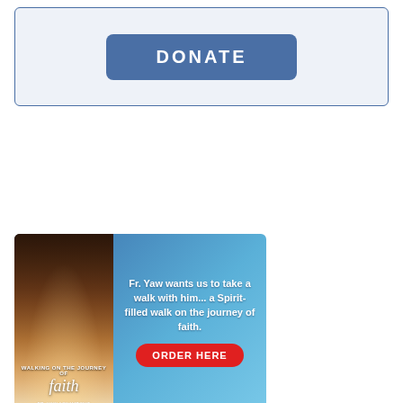[Figure (other): Donate button inside a light blue bordered box with rounded corners]
[Figure (other): Book advertisement for 'Walking on the Journey of Faith' by Fr. Yaw. Left side shows book cover with Gothic arch cathedral interior. Right side on blue background reads: Fr. Yaw wants us to take a walk with him... a Spirit-filled walk on the journey of faith. Red ORDER HERE button.]
[Figure (other): Catholic Register sign-up advertisement. Left side shows tablet/laptop displaying The Catholic Register publication. Right side blue banner reads SIGN UP TODAY.]